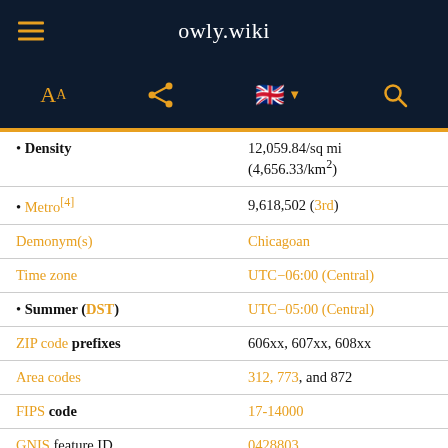owly.wiki
| Field | Value |
| --- | --- |
| • Density | 12,059.84/sq mi (4,656.33/km²) |
| • Metro[4] | 9,618,502 (3rd) |
| Demonym(s) | Chicagoan |
| Time zone | UTC−06:00 (Central) |
| • Summer (DST) | UTC−05:00 (Central) |
| ZIP code prefixes | 606xx, 607xx, 608xx |
| Area codes | 312, 773, and 872 |
| FIPS code | 17-14000 |
| GNIS feature ID | 0428803 |
| International airports | O'Hare Airport
Midway Airport |